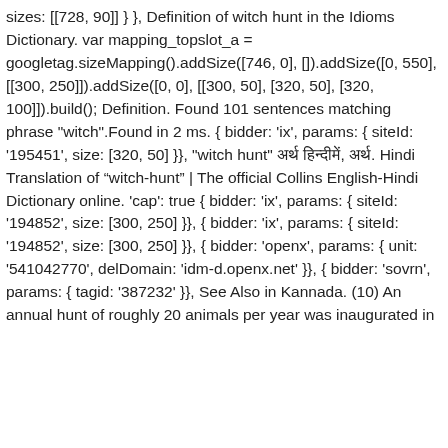sizes: [[728, 90]] } }, Definition of witch hunt in the Idioms Dictionary. var mapping_topslot_a = googletag.sizeMapping().addSize([746, 0], []).addSize([0, 550], [[300, 250]]).addSize([0, 0], [[300, 50], [320, 50], [320, 100]]).build(); Definition. Found 101 sentences matching phrase "witch".Found in 2 ms. { bidder: 'ix', params: { siteId: '195451', size: [320, 50] }}, "witch hunt" अर्थ हिन्दीमें, अर्थ. Hindi Translation of “witch-hunt” | The official Collins English-Hindi Dictionary online. 'cap': true { bidder: 'ix', params: { siteId: '194852', size: [300, 250] }}, { bidder: 'ix', params: { siteId: '194852', size: [300, 250] }}, { bidder: 'openx', params: { unit: '541042770', delDomain: 'idm-d.openx.net' }}, { bidder: 'sovrn', params: { tagid: '387232' }}, See Also in Kannada. (10) An annual hunt of roughly 20 animals per year was inaugurated in